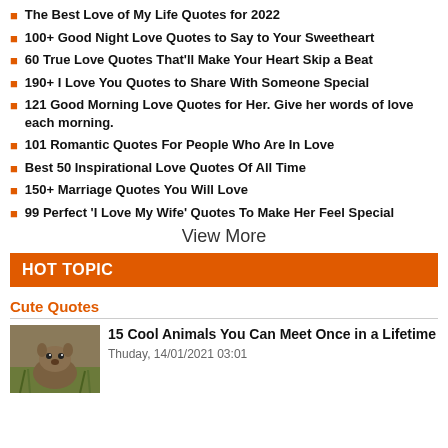The Best Love of My Life Quotes for 2022
100+ Good Night Love Quotes to Say to Your Sweetheart
60 True Love Quotes That'll Make Your Heart Skip a Beat
190+ I Love You Quotes to Share With Someone Special
121 Good Morning Love Quotes for Her. Give her words of love each morning.
101 Romantic Quotes For People Who Are In Love
Best 50 Inspirational Love Quotes Of All Time
150+ Marriage Quotes You Will Love
99 Perfect 'I Love My Wife' Quotes To Make Her Feel Special
View More
HOT TOPIC
Cute Quotes
15 Cool Animals You Can Meet Once in a Lifetime
Thuday, 14/01/2021 03:01